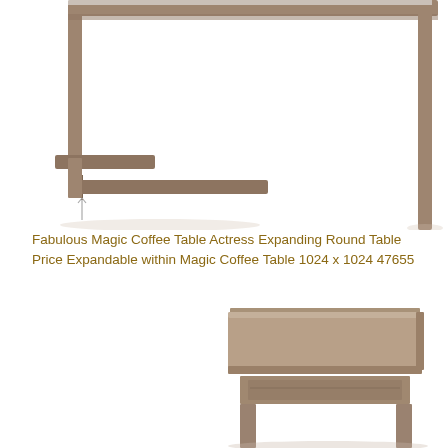[Figure (photo): Close-up of wooden coffee table frame/legs with a glass top surface, shot from above at an angle, showing the grey-brown wooden square frame legs on a white background.]
Fabulous Magic Coffee Table Actress Expanding Round Table Price Expandable within Magic Coffee Table 1024 x 1024 47655
[Figure (photo): Partial view of a square wooden coffee table with a grey-brown wood grain finish, showing the table top and a lower shelf/drawer panel, photographed from slightly above on a white background.]